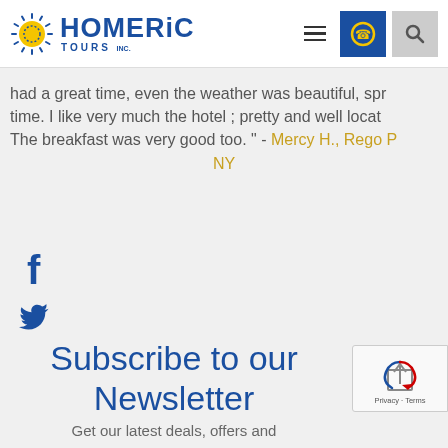Homeric Tours Inc. - navigation header
had a great time, even the weather was beautiful, spring time. I like very much the hotel ; pretty and well located. The breakfast was very good too. " - Mercy H., Rego Park, NY
[Figure (logo): Facebook icon (f logo)]
[Figure (logo): Twitter bird icon]
Subscribe to our Newsletter
Get our latest deals, offers and